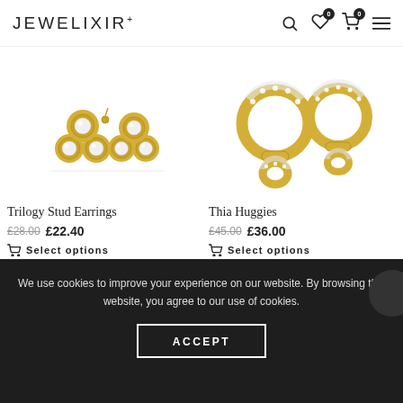JEWELIXIR
[Figure (photo): Trilogy stud earrings — gold with three diamond clusters]
Trilogy Stud Earrings
£28.00 £22.40
Select options
[Figure (photo): Thia Huggies — gold hoop earrings with diamond links]
Thia Huggies
£45.00 £36.00
Select options
We use cookies to improve your experience on our website. By browsing this website, you agree to our use of cookies.
ACCEPT
Wishlist   My account